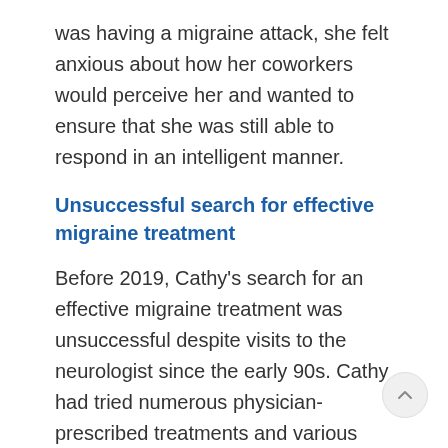was having a migraine attack, she felt anxious about how her coworkers would perceive her and wanted to ensure that she was still able to respond in an intelligent manner.
Unsuccessful search for effective migraine treatment
Before 2019, Cathy's search for an effective migraine treatment was unsuccessful despite visits to the neurologist since the early 90s. Cathy had tried numerous physician-prescribed treatments and various alternative therapies including scalp acupuncture, magnetic therapy, and craniosacral therapy. Nothing was truly effective. So, Cathy sought relief from migraine with sumatriptan and used about 18 tablets per month. Although Cathy